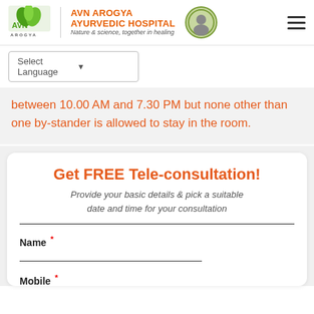[Figure (logo): AVN Arogya Ayurvedic Hospital logo with green leaf icon and circular portrait badge]
Select Language ▼
between 10.00 AM and 7.30 PM but none other than one by-stander is allowed to stay in the room.
Get FREE Tele-consultation!
Provide your basic details & pick a suitable date and time for your consultation
Name *
Mobile *